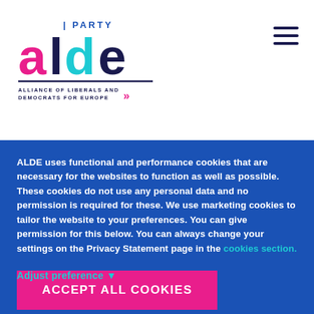[Figure (logo): ALDE Party logo — Alliance of Liberals and Democrats for Europe, with pink/blue stylized text and double chevron]
ALDE uses functional and performance cookies that are necessary for the websites to function as well as possible. These cookies do not use any personal data and no permission is required for these. We use marketing cookies to tailor the website to your preferences. You can give permission for this below. You can always change your settings on the Privacy Statement page in the cookies section.
Adjust preference ▼
ACCEPT ALL COOKIES